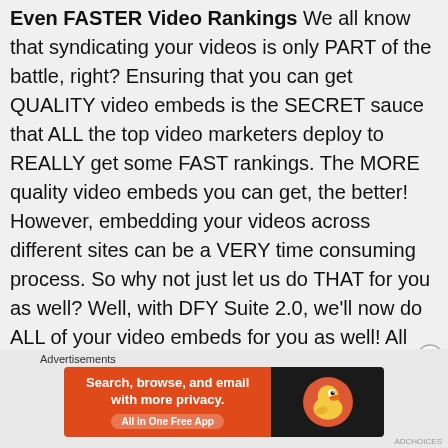Even FASTER Video Rankings We all know that syndicating your videos is only PART of the battle, right? Ensuring that you can get QUALITY video embeds is the SECRET sauce that ALL the top video marketers deploy to REALLY get some FAST rankings. The MORE quality video embeds you can get, the better! However, embedding your videos across different sites can be a VERY time consuming process. So why not just let us do THAT for you as well? Well, with DFY Suite 2.0, we'll now do ALL of your video embeds for you as well! All you have to do is input your video URL and we take it from there! Again, this feature ALONE could have EASILY been a separate upgrade. You're getting it FREE during this 2.0 grand-opening.
[Figure (other): DuckDuckGo advertisement banner: orange left panel with text 'Search, browse, and email with more privacy. All in One Free App' and dark right panel with DuckDuckGo duck logo]